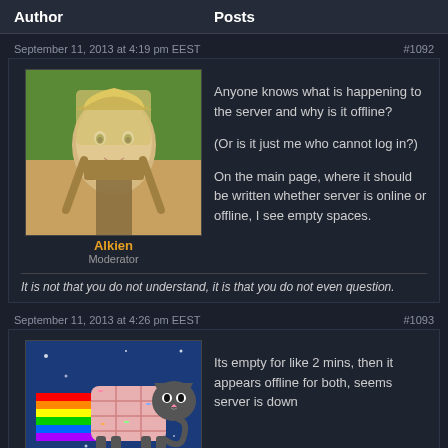Author	Posts
September 11, 2013 at 4:19 pm EEST	#1092
[Figure (illustration): Fantasy character avatar - blond warrior]
Anyone knows what is happening to the server and why is it offline?

(Or is it just me who cannot log in?)

On the main page, where it should be written whether server is online or offline, I see empty spaces.
Alkien
Moderator
It is not that you do not understand, it is that you do not even question.
September 11, 2013 at 4:26 pm EEST	#1093
[Figure (illustration): Nyan cat pixel art avatar on blue background]
Its empty for like 2 mins, then it appears offline for both, seems server is down
Verena